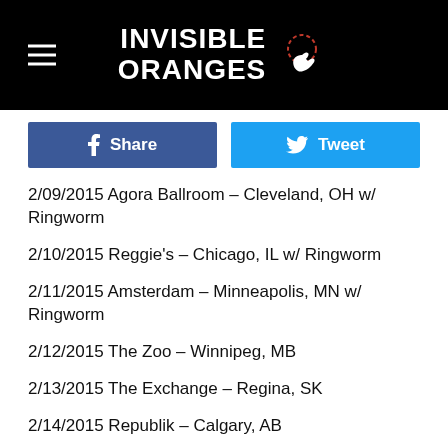INVISIBLE ORANGES
2/09/2015 Agora Ballroom – Cleveland, OH w/ Ringworm
2/10/2015 Reggie's – Chicago, IL w/ Ringworm
2/11/2015 Amsterdam – Minneapolis, MN w/ Ringworm
2/12/2015 The Zoo – Winnipeg, MB
2/13/2015 The Exchange – Regina, SK
2/14/2015 Republik – Calgary, AB
2/15/2015 Starlite Room – Edmonton, AB
2/17/2015 Rickshaw Theater – Vancouver, BC w/ Dayglo Abortions
2/18/2015 Studio Seven – Seattle, WA w/ Theories
2/19/2015 Hawthorne Theater – Portland, OR